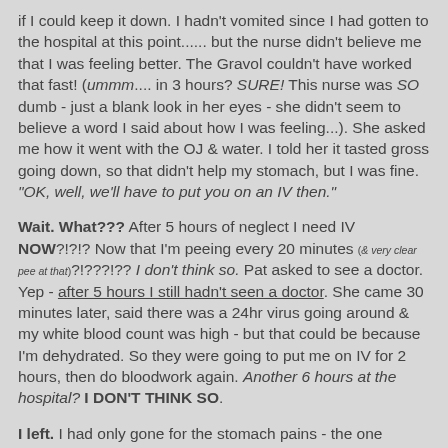if I could keep it down. I hadn't vomited since I had gotten to the hospital at this point...... but the nurse didn't believe me that I was feeling better. The Gravol couldn't have worked that fast! (ummm.... in 3 hours? SURE! This nurse was SO dumb - just a blank look in her eyes - she didn't seem to believe a word I said about how I was feeling...). She asked me how it went with the OJ & water. I told her it tasted gross going down, so that didn't help my stomach, but I was fine. "OK, well, we'll have to put you on an IV then."
Wait. What??? After 5 hours of neglect I need IV NOW?!?!? Now that I'm peeing every 20 minutes (& very clear pee at that)?!???!?? I don't think so. Pat asked to see a doctor. Yep - after 5 hours I still hadn't seen a doctor. She came 30 minutes later, said there was a 24hr virus going around & my white blood count was high - but that could be because I'm dehydrated. So they were going to put me on IV for 2 hours, then do bloodwork again. Another 6 hours at the hospital? I DON'T THINK SO.
I left. I had only gone for the stomach pains - the one symptom they completely ignored. Awesome. I was feeling